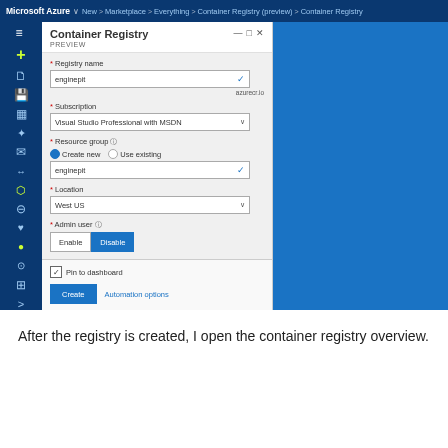[Figure (screenshot): Microsoft Azure portal screenshot showing the Container Registry (preview) creation form. The form includes fields for Registry name (enginepit), Subscription (Visual Studio Professional with MSDN), Resource group (Create new / Use existing, enginepit), Location (West US), Admin user (Enable/Disable toggle with Disable selected), and Storage account (blurred value). A blue panel occupies the right side. At the bottom: Pin to dashboard checkbox and Create / Automation options buttons.]
After the registry is created, I open the container registry overview.